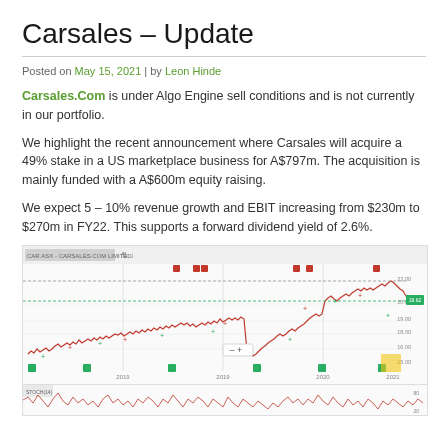Carsales – Update
Posted on May 15, 2021 | by Leon Hinde
Carsales.Com is under Algo Engine sell conditions and is not currently in our portfolio.
We highlight the recent announcement where Carsales will acquire a 49% stake in a US marketplace business for A$797m. The acquisition is mainly funded with a A$600m equity raising.
We expect 5 – 10% revenue growth and EBIT increasing from $230m to $270m in FY22. This supports a forward dividend yield of 2.6%.
[Figure (continuous-plot): Stock price chart for CAR.ASX - Carsales.Com Limited showing price history from approximately 2018 to 2021, with red candlestick/line chart, green and red signal markers, green buy squares at bottom, and price levels on right axis around 17-22 range. Below is an oscillator/momentum indicator panel.]